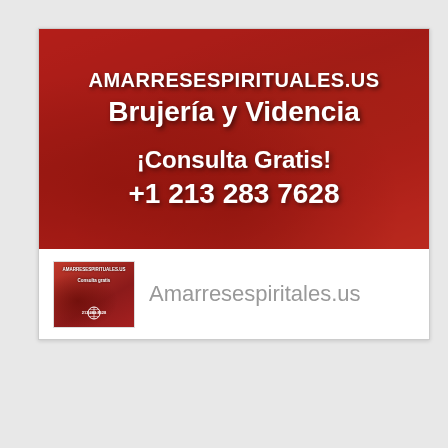[Figure (illustration): Red-tinted banner image showing clay pottery and mystical/astrological papers on a table, with white bold text overlay advertising a spiritual services website]
Amarresespiritales.us